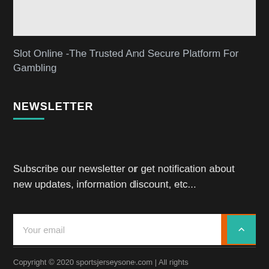[Figure (other): Gray image placeholder area at top of page]
Slot Online -The Trusted And Secure Platform For Gambling
NEWSLETTER
Subscribe our newsletter or get notification about new updates, information discount, etc...
Your email
Copyright © 2020 sportsjerseysone.com | All rights